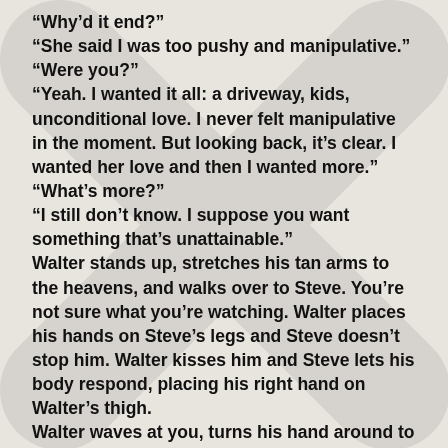“Why’d it end?”
“She said I was too pushy and manipulative.”
“Were you?”
“Yeah. I wanted it all: a driveway, kids, unconditional love. I never felt manipulative in the moment. But looking back, it’s clear. I wanted her love and then I wanted more.”
“What’s more?”
“I still don’t know. I suppose you want something that’s unattainable.”
Walter stands up, stretches his tan arms to the heavens, and walks over to Steve. You’re not sure what you’re watching. Walter places his hands on Steve’s legs and Steve doesn’t stop him. Walter kisses him and Steve lets his body respond, placing his right hand on Walter’s thigh.
Walter waves at you, turns his hand around to gesture